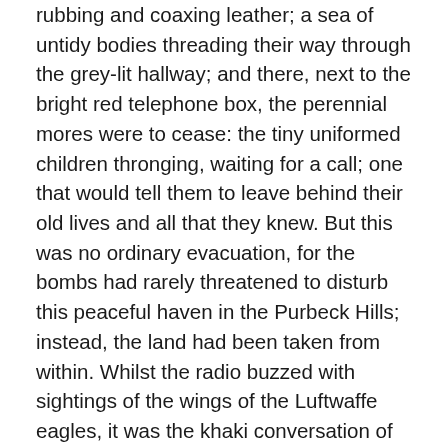rubbing and coaxing leather; a sea of untidy bodies threading their way through the grey-lit hallway; and there, next to the bright red telephone box, the perennial mores were to cease: the tiny uniformed children thronging, waiting for a call; one that would tell them to leave behind their old lives and all that they knew. But this was no ordinary evacuation, for the bombs had rarely threatened to disturb this peaceful haven in the Purbeck Hills; instead, the land had been taken from within. Whilst the radio buzzed with sightings of the wings of the Luftwaffe eagles, it was the khaki conversation of the Nissan huts that had ultimately decided their fate. And four years after the war had begun, on a bitterly cold day, the Creech village postmaster had delivered to each household the letters that brought the unwelcome news of evacuation.
As the Grebbel children huddled together, they looked up